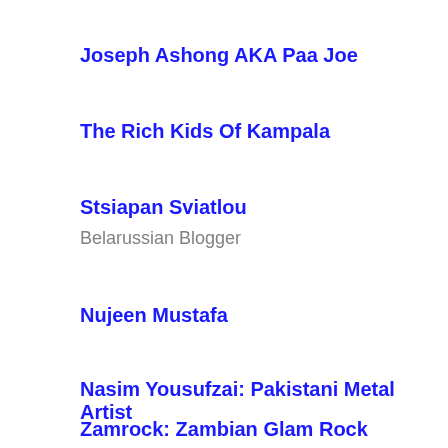Joseph Ashong AKA Paa Joe
The Rich Kids Of Kampala
Stsiapan Sviatlou
Belarussian Blogger
Nujeen Mustafa
Nasim Yousufzai: Pakistani Metal Artist
Zamrock: Zambian Glam Rock